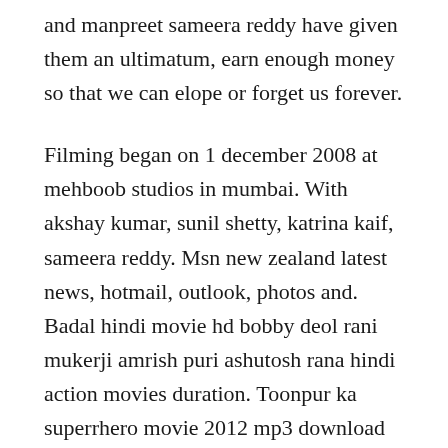and manpreet sameera reddy have given them an ultimatum, earn enough money so that we can elope or forget us forever.
Filming began on 1 december 2008 at mehboob studios in mumbai. With akshay kumar, sunil shetty, katrina kaif, sameera reddy. Msn new zealand latest news, hotmail, outlook, photos and. Badal hindi movie hd bobby deol rani mukerji amrish puri ashutosh rana hindi action movies duration. Toonpur ka superrhero movie 2012 mp3 download english mrs. Ajay devgan is known for his versatility